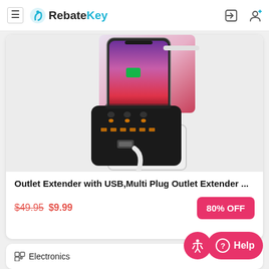RebateKey
[Figure (photo): Outlet Extender with USB device plugged into wall outlet, with smartphone resting on top, showing a black multi-plug outlet extender with a white cable]
Outlet Extender with USB,Multi Plug Outlet Extender ...
$49.95 $9.99 80% OFF
Electronics